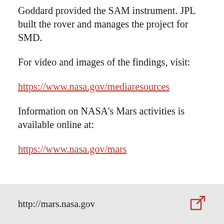Goddard provided the SAM instrument. JPL built the rover and manages the project for SMD.
For video and images of the findings, visit:
https://www.nasa.gov/mediaresources
Information on NASA's Mars activities is available online at:
https://www.nasa.gov/mars
http://mars.nasa.gov